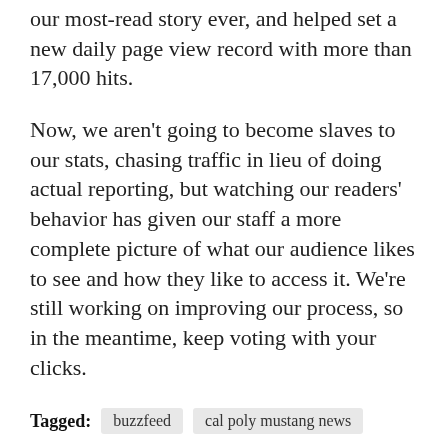our most-read story ever, and helped set a new daily page view record with more than 17,000 hits.
Now, we aren't going to become slaves to our stats, chasing traffic in lieu of doing actual reporting, but watching our readers' behavior has given our staff a more complete picture of what our audience likes to see and how they like to access it. We're still working on improving our process, so in the meantime, keep voting with your clicks.
Tagged: buzzfeed  cal poly mustang news